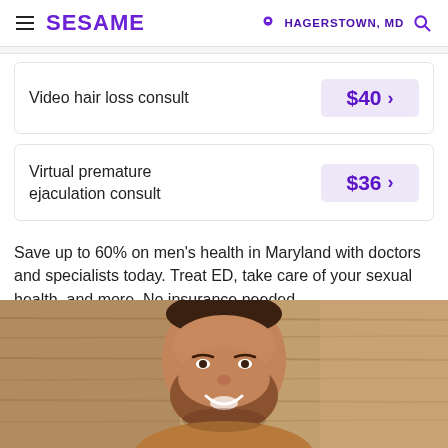SESAME | HAGERSTOWN, MD
Video hair loss consult $40
Virtual premature ejaculation consult $36
Save up to 60% on men's health in Maryland with doctors and specialists today. Treat ED, take care of your sexual health, and more. No insurance needed.
[Figure (photo): Smiling bearded man photographed against a wooden background]